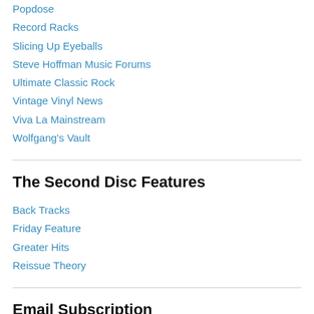Popdose
Record Racks
Slicing Up Eyeballs
Steve Hoffman Music Forums
Ultimate Classic Rock
Vintage Vinyl News
Viva La Mainstream
Wolfgang's Vault
The Second Disc Features
Back Tracks
Friday Feature
Greater Hits
Reissue Theory
Email Subscription
Get e-mail alerts for The Second Disc and impress your friends with